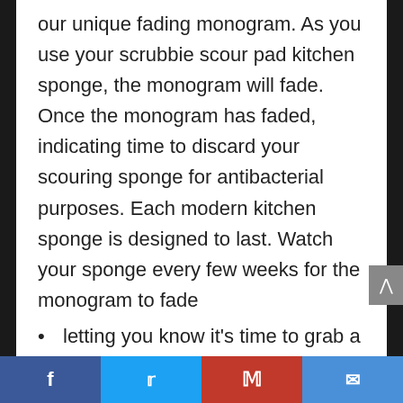our unique fading monogram. As you use your scrubbie scour pad kitchen sponge, the monogram will fade. Once the monogram has faded, indicating time to discard your scouring sponge for antibacterial purposes. Each modern kitchen sponge is designed to last. Watch your sponge every few weeks for the monogram to fade
letting you know it's time to grab a new one.
NON-ABRASIVE: This soft scrub